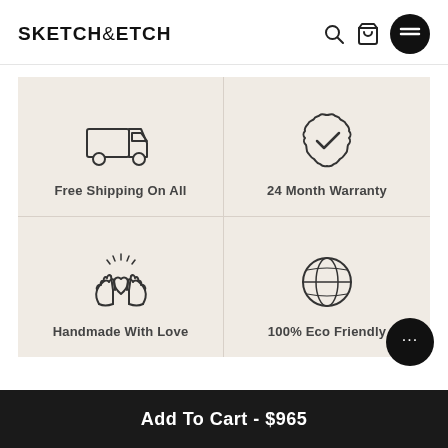SKETCH&ETCH
[Figure (infographic): Four feature icons in a 2x2 grid on beige background: delivery truck (Free Shipping On All), badge with checkmark (24 Month Warranty), two hands forming a heart (Handmade With Love), globe in circle (100% Eco Friendly)]
Free Shipping On All
24 Month Warranty
Handmade With Love
100% Eco Friendly
Add To Cart - $965